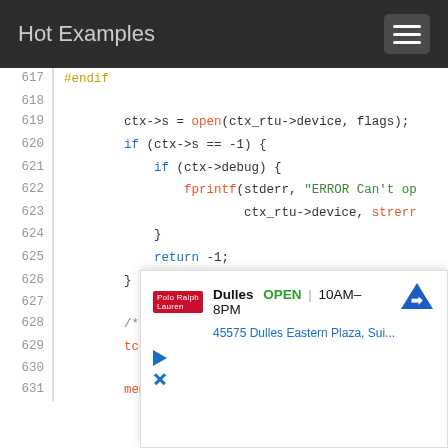Hot Examples
[Figure (screenshot): Syntax-highlighted C code snippet, lines 617–631, showing serial port open/setup logic with line numbers in grey, keywords in blue, function names in orange/red, string literals in green.]
[Figure (infographic): Advertisement overlay: Dulles store OPEN 10AM-8PM, 45575 Dulles Eastern Plaza, Sui..., with navigation icon and play/close controls.]